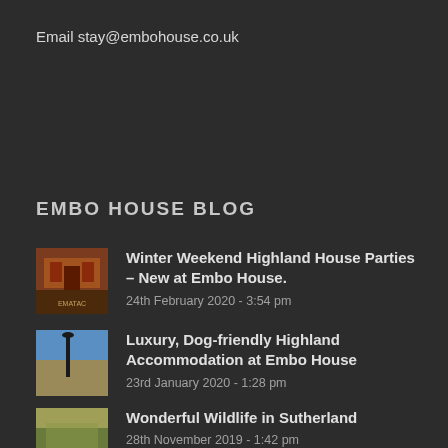Email stay@embohouse.co.uk
EMBO HOUSE BLOG
Winter Weekend Highland House Parties – New at Embo House.
24th February 2020 - 3:54 pm
Luxury, Dog-friendly Highland Accommodation at Embo House
23rd January 2020 - 1:28 pm
Wonderful Wildlife in Sutherland
28th November 2019 - 1:42 pm